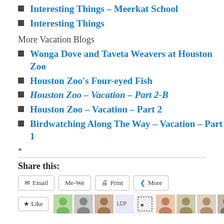Interesting Things – Meerkat School
Interesting Things
More Vacation Blogs
Wonga Dove and Taveta Weavers at Houston Zoo
Houston Zoo's Four-eyed Fish
Houston Zoo – Vacation – Part 2-B
Houston Zoo – Vacation – Part 2
Birdwatching Along The Way – Vacation – Part 1
*
Share this:
Email | Me-We | Print | More
[Figure (other): Like button and user avatar thumbnails row]